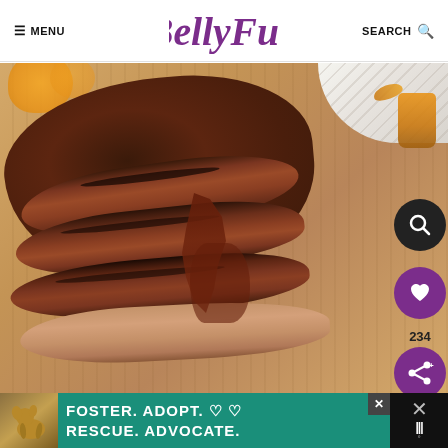≡ MENU | BellyFull | SEARCH 🔍
[Figure (photo): Sliced smoked beef brisket on a wooden cutting board with dark char marks and barbecue sauce drizzled over the slices. An orange and spice jar visible in background.]
[Figure (infographic): Advertisement banner: Foster. Adopt. Rescue. Advocate. with a dog image on teal background. Close button visible.]